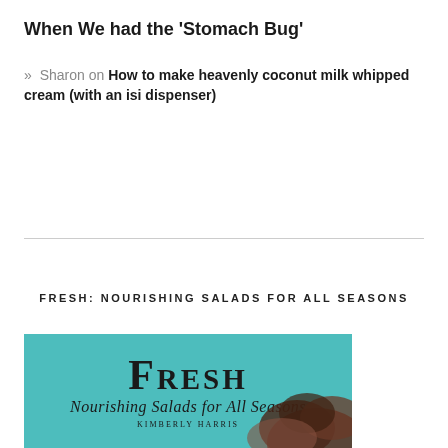When We had the 'Stomach Bug'
» Sharon on How to make heavenly coconut milk whipped cream (with an isi dispenser)
FRESH: NOURISHING SALADS FOR ALL SEASONS
[Figure (illustration): Book cover for 'Fresh: Nourishing Salads for All Seasons' by Kimberly Harris. Teal/turquoise background with large stylized text 'FRESH' in serif font, subtitle 'Nourishing Salads for All Seasons' in script font, author name 'Kimberly Harris' in small caps. Dark leafy greens in the lower right corner. Bottom portion shows a faded outdoor scene.]